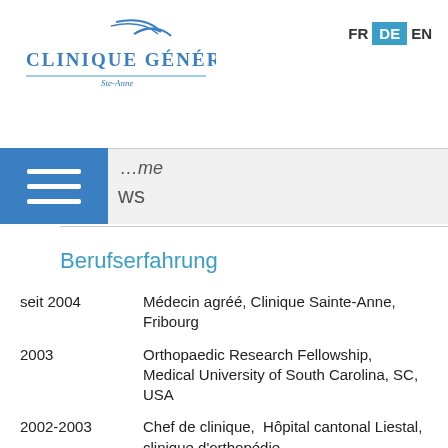[Figure (logo): Clinique Générale Ste-Anne logo with stylized bird/checkmark above text]
FR DE EN
ws
Berufserfahrung
seit 2004 — Médecin agréé, Clinique Sainte-Anne, Fribourg
2003 — Orthopaedic Research Fellowship, Medical University of South Carolina, SC, USA
2002-2003 — Chef de clinique, Hôpital cantonal Liestal, clinique d'orthopédie
1998-2001 — Chef de clinique, Hôpital cantonal Fribourg, service de